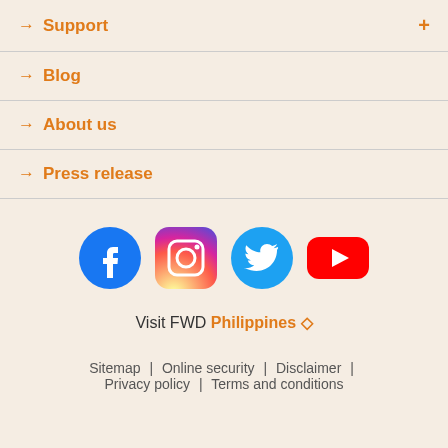→ Support
→ Blog
→ About us
→ Press release
[Figure (illustration): Social media icons: Facebook, Instagram, Twitter, YouTube]
Visit FWD Philippines ◇
Sitemap | Online security | Disclaimer | Privacy policy | Terms and conditions